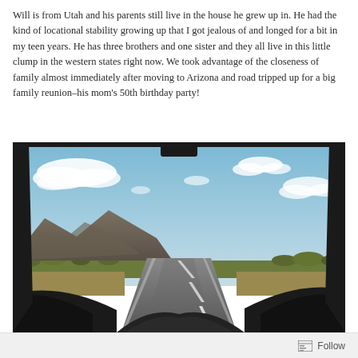Will is from Utah and his parents still live in the house he grew up in.  He had the kind of locational stability growing up that I got jealous of and longed for a bit in my teen years.  He has three brothers and one sister and they all live in this little clump in the western states right now.  We took advantage of the closeness of family almost immediately after moving to Arizona and road tripped up for a big family reunion–his mom's 50th birthday party!
[Figure (photo): View from inside a car through the windshield showing a long straight desert highway stretching into the distance, rugged mountains on the left, sparse desert vegetation on both sides, blue sky with scattered white clouds above. The car dashboard is visible at the bottom of the frame.]
Follow